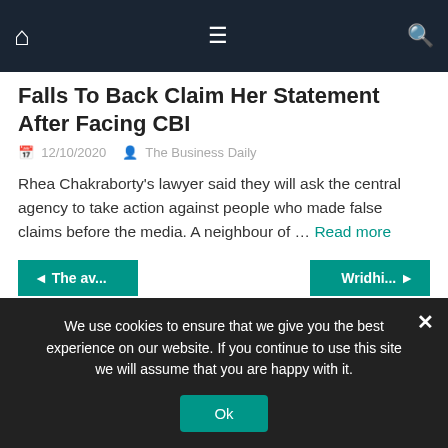Home | Menu | Search
Falls To Back Claim Her Statement After Facing CBI
12/10/2020   The Business Daily
Rhea Chakraborty's lawyer said they will ask the central agency to take action against people who made false claims before the media. A neighbour of … Read more
◄ The av...   Wridhi... ►
Average Rating
5 Star   0%
We use cookies to ensure that we give you the best experience on our website. If you continue to use this site we will assume that you are happy with it.